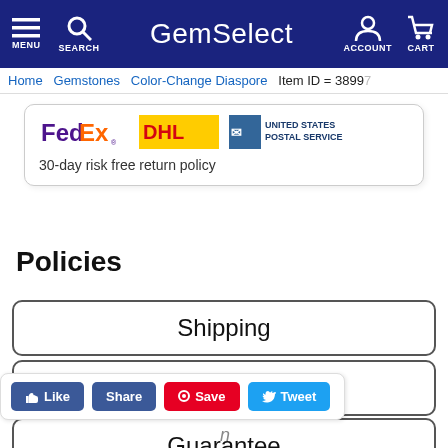GemSelect | MENU SEARCH ACCOUNT CART
Home > Gemstones > Color-Change Diaspore  Item ID = 3899...
[Figure (logo): FedEx, DHL, and United States Postal Service logos]
30-day risk free return policy
Policies
Shipping
Payment
Guarantee
Like  Share  Save  Tweet